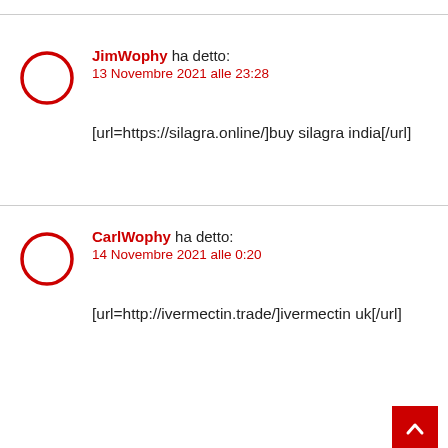JimWophy ha detto:
13 Novembre 2021 alle 23:28
[url=https://silagra.online/]buy silagra india[/url]
CarlWophy ha detto:
14 Novembre 2021 alle 0:20
[url=http://ivermectin.trade/]ivermectin uk[/url]